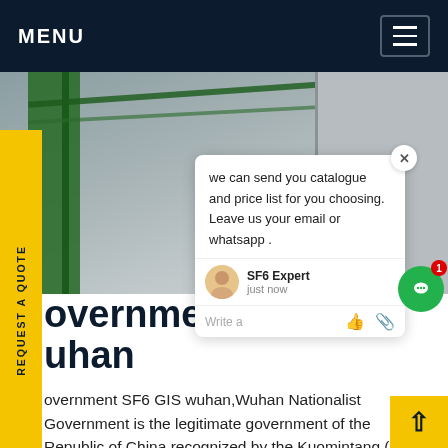MENU
[Figure (photo): Warehouse or industrial building exterior showing green steel frame structure and gray panels]
REQUEST A QUOTE
we can send you catalogue and price list for you choosing. Leave us your email or whatsapp .
SF6 Expert   just now
Write a
Government SF6 GIS wuhan
government SF6 GIS wuhan,Wuhan Nationalist Government is the legitimate government of the Republic of China recognized by the Kuomintang (KMT) leftists, CPC, and other left-wing powers. usually abbreviated to Wuhan Government, but will